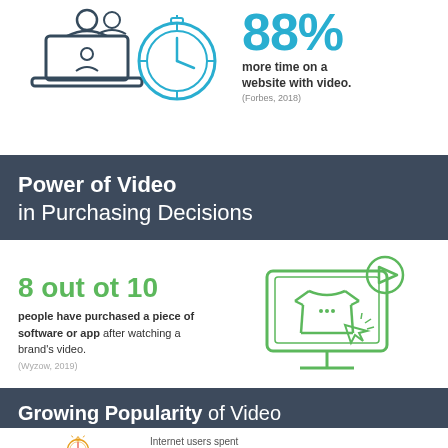[Figure (illustration): Two outline icons: people/users on laptop, and a clock/timer dial, in dark blue line art]
88% more time on a website with video. (Forbes, 2018)
Power of Video in Purchasing Decisions
8 out ot 10 people have purchased a piece of software or app after watching a brand's video. (Wyzow, 2019)
[Figure (illustration): Green outline icon of a computer monitor with a t-shirt and cursor/click icon, and a play button circle in top right]
Growing Popularity of Video
[Figure (illustration): Orange and red outline stopwatch/timer icon]
Internet users spent 06:48